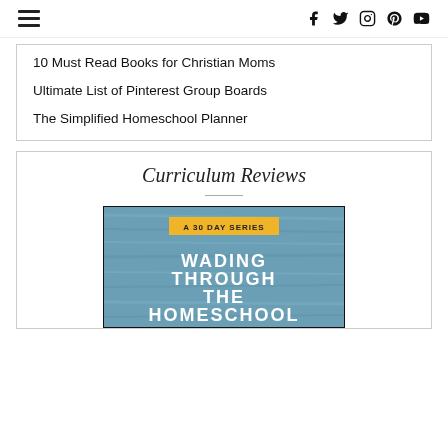Navigation and social icons header
10 Must Read Books for Christian Moms
Ultimate List of Pinterest Group Boards
The Simplified Homeschool Planner
Curriculum Reviews
[Figure (illustration): Book cover image for 'Wading Through the Homeschool' with a yellow badge reading 'A 30 DAY SERIES' on a teal wood-grain background]